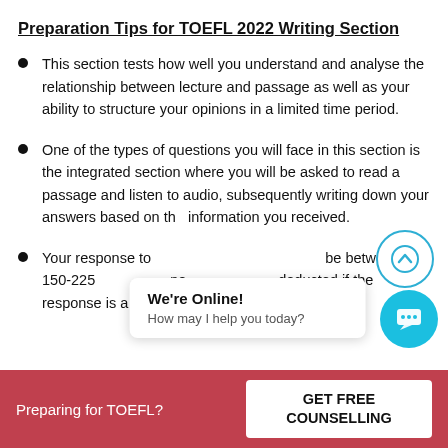Preparation Tips for TOEFL 2022 Writing Section
This section tests how well you understand and analyse the relationship between lecture and passage as well as your ability to structure your opinions in a limited time period.
One of the types of questions you will face in this section is the integrated section where you will be asked to read a passage and listen to audio, subsequently writing down your answers based on the information you received.
Your response to [the integrated task] should be between 150-225 words and no marks will be deducted if the response is a bit longer.
[Figure (other): Scroll-to-top circular button with upward chevron icon, and a live chat widget showing 'We're Online! How may I help you today?' with a circular blue chat icon button.]
Preparing for TOEFL?   GET FREE COUNSELLING